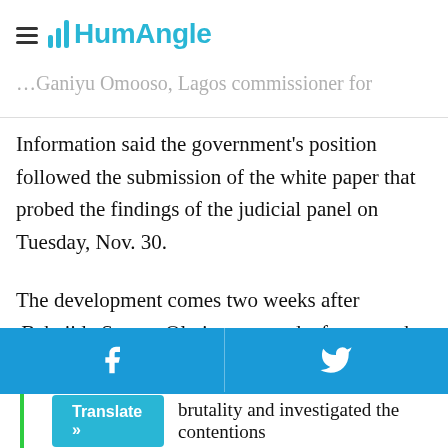HumAngle
…Ganiyu Omooso, Lagos commissioner for Information said the government's position followed the submission of the white paper that probed the findings of the judicial panel on Tuesday, Nov. 30.
The development comes two weeks after Babajide Sanwo-Olu inaugurated a four-member committee to draft the white paper following the submission of the panel's report on Monday, Nov. 15.
In the past year, the panel set up by the Lagos government itself was drawn from lawyers, judges, experts and activists
brutality and investigated the contentions